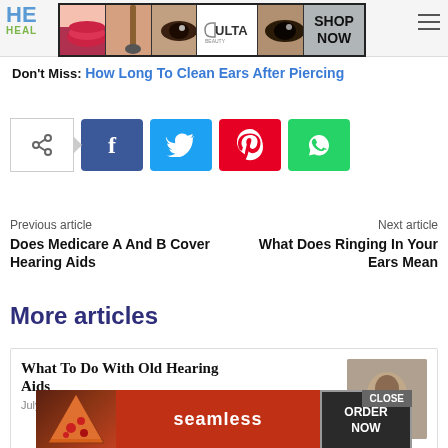HEALTH - HEAL
[Figure (other): ULTA beauty advertisement banner with makeup images and SHOP NOW button]
Don't Miss: How Long To Clean Ears After Piercing
[Figure (other): Social share buttons row: share toggle, Facebook, Twitter, Pinterest, WhatsApp]
Previous article
Does Medicare A And B Cover Hearing Aids
Next article
What Does Ringing In Your Ears Mean
More articles
What To Do With Old Hearing Aids
July
[Figure (other): Seamless food delivery advertisement banner with pizza image, seamless logo, and ORDER NOW button]